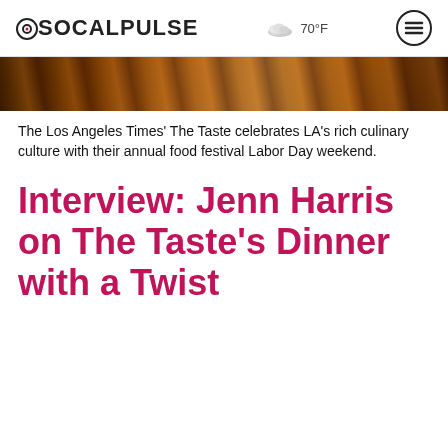SOCALPULSE  70°F
[Figure (photo): A warm-toned photo strip showing people at what appears to be a food festival event, with orange and brown tones suggesting an evening outdoor setting.]
The Los Angeles Times' The Taste celebrates LA's rich culinary culture with their annual food festival Labor Day weekend.
Interview: Jenn Harris on The Taste's Dinner with a Twist